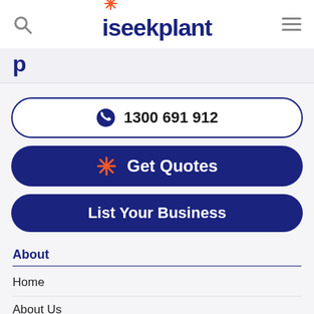iseekplant (logo with search and menu icons)
p (partial title cut off at top)
1300 691 912
Get Quotes
List Your Business
About
Home
About Us
How It Works